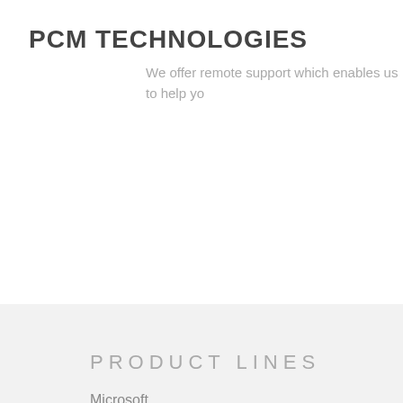PCM TECHNOLOGIES
We offer remote support which enables us to help yo s
PRODUCT LINES
Microsoft
Lenovo